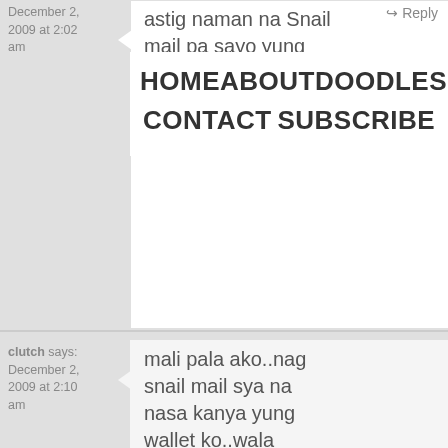December 2, 2009 at 2:02 am
astig naman na snail mail pa sayo yung wallet mo. waaaaaaaaah! swerte! 😉
HOME   ABOUT   DOODLES   CONTACT   SUBSCRIBE
clutch says: December 2, 2009 at 2:10 am
mali pala ako..nag snail mail sya na nasa kanya yung wallet ko..wala kasing contact details dun sa mga IDs na nandun. I got my wallet pa sa alabang…imagine from laguna ako nag wowork that time tapos sa alabang tinapon yung wallet ko.. I hope you